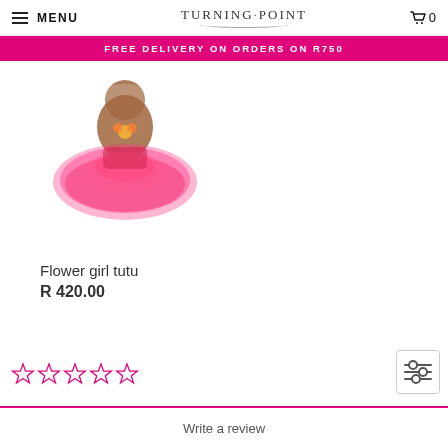MENU | TURNING·POINT | 0
FREE DELIVERY ON ORDERS ON R750
[Figure (photo): A pink flower girl tutu dress on a model, blurred background]
Flower girl tutu
R 420.00
[Figure (other): Five empty star rating icons in pink outline]
Write a review